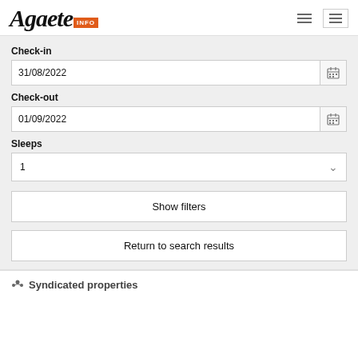Agaete INFO
Check-in
31/08/2022
Check-out
01/09/2022
Sleeps
1
Show filters
Return to search results
Syndicated properties